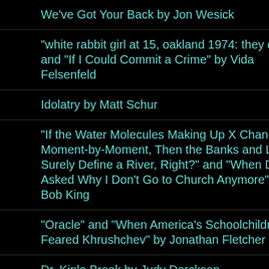We've Got Your Back by Jon Wesick
"white rabbit girl at 15, oakland 1974: they did" and "If I Could Commit a Crime" by Vida Felsenfeld
Idolatry by Matt Schur
"If the Water Molecules Making Up X Change Moment-by-Moment, Then the Banks and Locale Surely Define a River, Right?" and "When Dad Asked Why I Don't Go to Church Anymore" by Bob King
"Oracle" and "When America's Schoolchildren Feared Khrushchev" by Jonathan Fletcher
Dr. Kipla Broek by Judy Dercksen
"Niobium," "Nickel," and